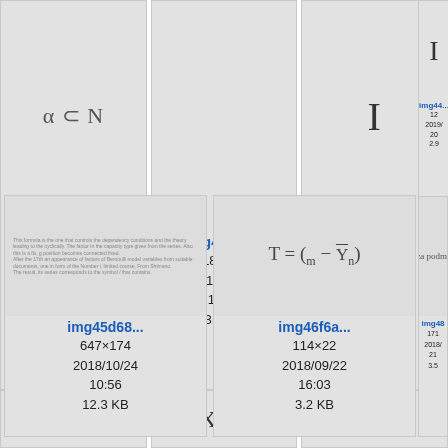[Figure (screenshot): Thumbnail card for img43cfc showing mathematical symbols α ⊂ N, size 56×15, date 2018/08/16 14:35, 3.1 KB]
[Figure (screenshot): Thumbnail card for img44a94 showing mathematical content, size 188×21, date 2018/09/22 14:35, 3.6 KB]
[Figure (screenshot): Thumbnail card for img44 (partially visible) showing mathematical content, size 12x, date 2019/x, 2.9x KB]
[Figure (screenshot): Thumbnail card for img45d68 showing a text block, size 647×174, date 2018/10/24 10:56, 12.3 KB]
[Figure (screenshot): Thumbnail card for img46f6a showing formula T = (m - Ȳn), size 114×22, date 2018/09/22 16:03, 3.2 KB]
[Figure (screenshot): Thumbnail card for img48 (partially visible) showing 'za podmí' text, size 171x, date 2018/x 21x, 3.5x KB]
[Figure (screenshot): Bottom row thumbnail showing (x, y) mathematical expression (partially visible)]
[Figure (screenshot): Bottom row thumbnail showing X, Y mathematical expression (partially visible)]
[Figure (screenshot): Bottom row thumbnail (partially visible, rightmost)]